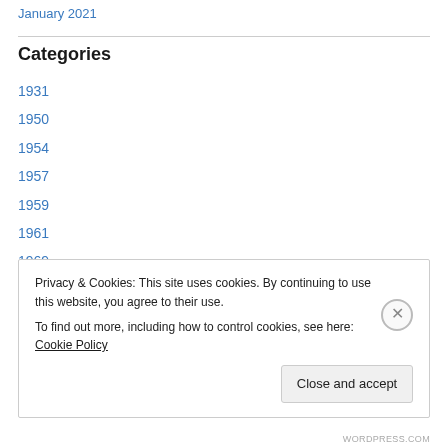January 2021
Categories
1931
1950
1954
1957
1959
1961
1969
1971
1972
Privacy & Cookies: This site uses cookies. By continuing to use this website, you agree to their use.
To find out more, including how to control cookies, see here: Cookie Policy
WORDPRESS.COM